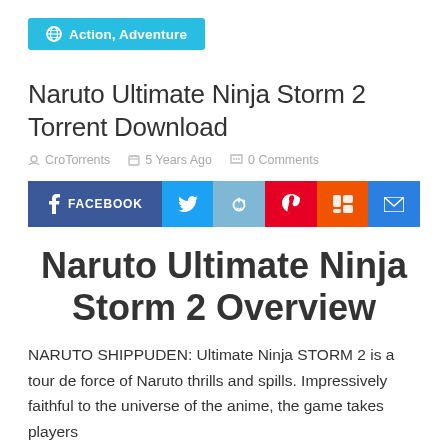Action, Adventure
Naruto Ultimate Ninja Storm 2 Torrent Download
CroTorrents   5 Years Ago   0 Comments
[Figure (infographic): Social share buttons: Facebook, Twitter, Reddit, Pinterest, Mix, Email]
Naruto Ultimate Ninja Storm 2 Overview
NARUTO SHIPPUDEN: Ultimate Ninja STORM 2 is a tour de force of Naruto thrills and spills. Impressively faithful to the universe of the anime, the game takes players